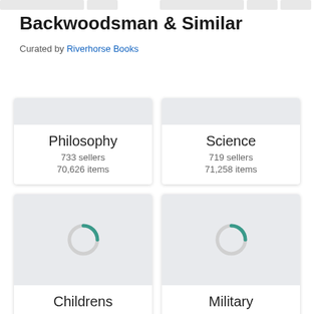Backwoodsman & Similar
Curated by Riverhorse Books
→ Search collections
| Category | Sellers | Items |
| --- | --- | --- |
| Philosophy | 733 sellers | 70,626 items |
| Science | 719 sellers | 71,258 items |
| Childrens | 629 sellers | 127,483 items |
| Military | 535 sellers | 60,332 items |